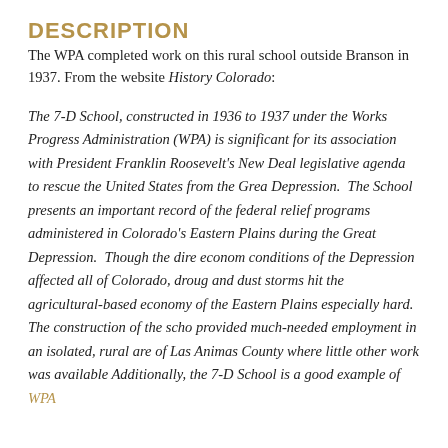DESCRIPTION
The WPA completed work on this rural school outside Branson in 1937. From the website History Colorado:
The 7-D School, constructed in 1936 to 1937 under the Works Progress Administration (WPA) is significant for its association with President Franklin Roosevelt's New Deal legislative agenda to rescue the United States from the Great Depression.  The School presents an important record of the federal relief programs administered in Colorado's Eastern Plains during the Great Depression.  Though the dire economic conditions of the Depression affected all of Colorado, drought and dust storms hit the agricultural-based economy of the Eastern Plains especially hard.  The construction of the school provided much-needed employment in an isolated, rural area of Las Animas County where little other work was available.  Additionally, the 7-D School is a good example of WPA